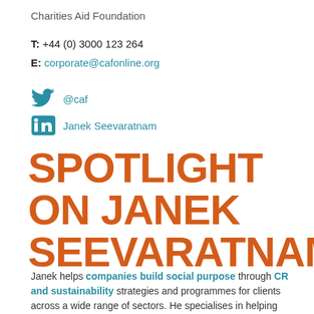Charities Aid Foundation
T: +44 (0) 3000 123 264
E: corporate@cafonline.org
@caf
Janek Seevaratnam
SPOTLIGHT ON JANEK SEEVARATNAM
Janek helps companies build social purpose through CR and sustainability strategies and programmes for clients across a wide range of sectors. He specialises in helping clients to articulate